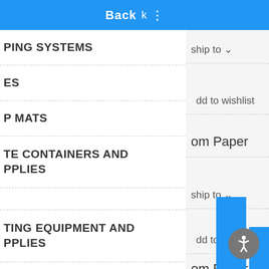Back k ⋮
PING SYSTEMS
ship to
ES
Add to wishlist
P MATS
om Paper
TE CONTAINERS AND PPLIES
TING EQUIPMENT AND PPLIES
ship to
Add to wishlist
ENSERS AND HOLDERS
om Paper
ANROOM OFFICE SUPPLIES
X MATS AND FRAMES